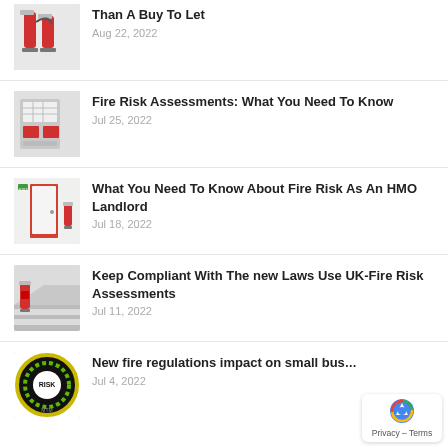Than A Buy To Let — Aug 22, 2022
Fire Risk Assessments: What You Need To Know — Jul 25, 2022
What You Need To Know About Fire Risk As An HMO Landlord — Jul 18, 2022
Keep Compliant With The new Laws Use UK-Fire Risk Assessments — Jul 11, 2022
New fire regulations impact on small bus… — Jul 4, 2022